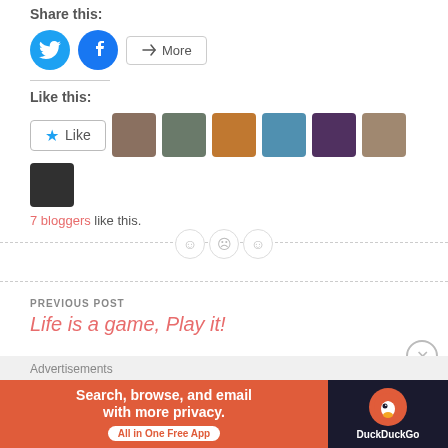Share this:
[Figure (infographic): Twitter and Facebook share buttons and a More button]
Like this:
[Figure (infographic): Like button with star and 7 blogger avatar images]
7 bloggers like this.
[Figure (infographic): Dashed divider with three emoji-style circles]
PREVIOUS POST
Life is a game, Play it!
Advertisements
[Figure (infographic): DuckDuckGo advertisement banner: Search, browse, and email with more privacy. All in One Free App]